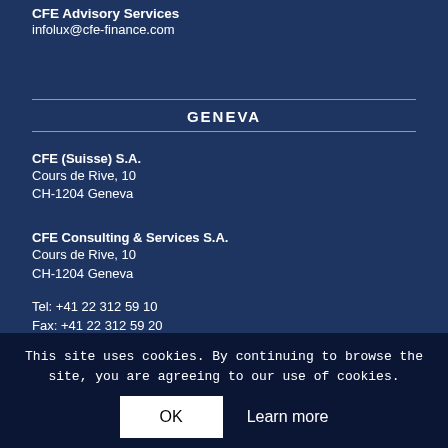CFE Advisory Services
infolux@cfe-finance.com
GENEVA
CFE (Suisse) S.A.
Cours de Rive, 10
CH-1204 Geneva
CFE Consulting & Services S.A.
Cours de Rive, 10
CH-1204 Geneva
Tel: +41 22 312 59 10
Fax: +41 22 312 59 20
This site uses cookies. By continuing to browse the site, you are agreeing to our use of cookies.
OK    Learn more